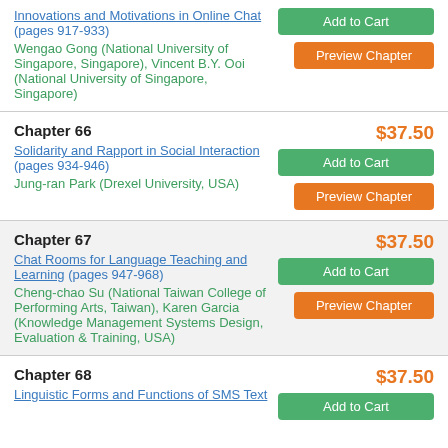Innovations and Motivations in Online Chat (pages 917-933)
Wengao Gong (National University of Singapore, Singapore), Vincent B.Y. Ooi (National University of Singapore, Singapore)
Chapter 66
$37.50
Solidarity and Rapport in Social Interaction (pages 934-946)
Jung-ran Park (Drexel University, USA)
Chapter 67
$37.50
Chat Rooms for Language Teaching and Learning (pages 947-968)
Cheng-chao Su (National Taiwan College of Performing Arts, Taiwan), Karen Garcia (Knowledge Management Systems Design, Evaluation & Training, USA)
Chapter 68
$37.50
Linguistic Forms and Functions of SMS Text